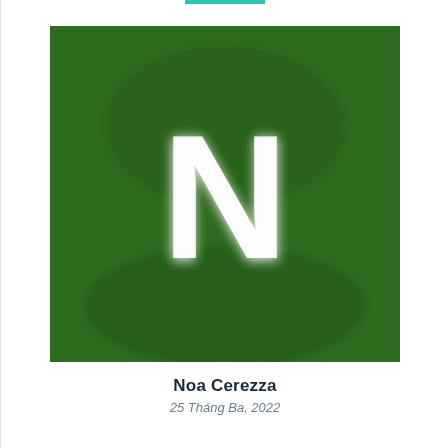[Figure (illustration): Green square avatar with a large white letter N centered on a dark green background]
Noa Cerezza
25 Tháng Ba, 2022